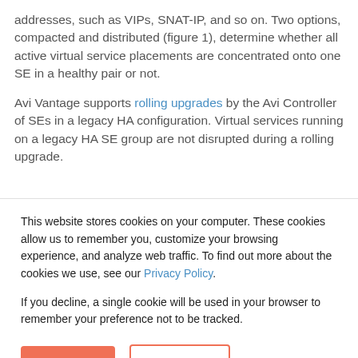addresses, such as VIPs, SNAT-IP, and so on. Two options, compacted and distributed (figure 1), determine whether all active virtual service placements are concentrated onto one SE in a healthy pair or not.
Avi Vantage supports rolling upgrades by the Avi Controller of SEs in a legacy HA configuration. Virtual services running on a legacy HA SE group are not disrupted during a rolling upgrade.
This website stores cookies on your computer. These cookies allow us to remember you, customize your browsing experience, and analyze web traffic. To find out more about the cookies we use, see our Privacy Policy.
If you decline, a single cookie will be used in your browser to remember your preference not to be tracked.